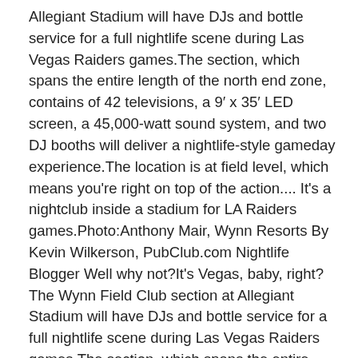Allegiant Stadium will have DJs and bottle service for a full nightlife scene during Las Vegas Raiders games.The section, which spans the entire length of the north end zone, contains of 42 televisions, a 9′ x 35′ LED screen, a 45,000-watt sound system, and two DJ booths will deliver a nightlife-style gameday experience.The location is at field level, which means you're right on top of the action.... It's a nightclub inside a stadium for LA Raiders games.Photo:Anthony Mair, Wynn Resorts By Kevin Wilkerson, PubClub.com Nightlife Blogger Well why not?It's Vegas, baby, right?The Wynn Field Club section at Allegiant Stadium will have DJs and bottle service for a full nightlife scene during Las Vegas Raiders games.The section, which spans the entire length of the north end zone, contains of 42 televisions, a 9′ x 35′ LED screen, a 45,000-watt sound system, and two DJ booths will deliver a nightlife-style gameday experience.The location is at field level, which means you're right on top of the action.